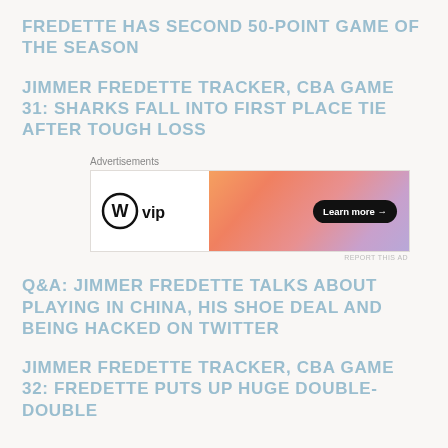FREDETTE HAS SECOND 50-POINT GAME OF THE SEASON
JIMMER FREDETTE TRACKER, CBA GAME 31: SHARKS FALL INTO FIRST PLACE TIE AFTER TOUGH LOSS
[Figure (other): WordPress VIP advertisement banner with orange-pink gradient and Learn more button]
Q&A: JIMMER FREDETTE TALKS ABOUT PLAYING IN CHINA, HIS SHOE DEAL AND BEING HACKED ON TWITTER
JIMMER FREDETTE TRACKER, CBA GAME 32: FREDETTE PUTS UP HUGE DOUBLE-DOUBLE